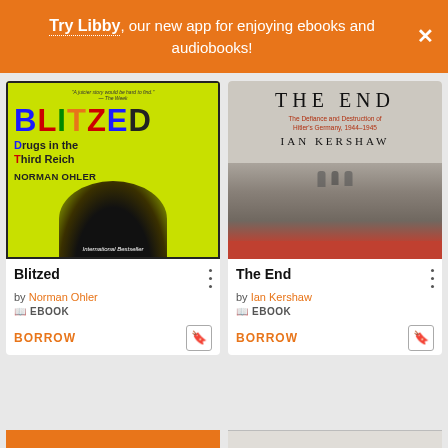Try Libby, our new app for enjoying ebooks and audiobooks!
[Figure (illustration): Book cover for Blitzed: Drugs in the Third Reich by Norman Ohler. Yellow background with colorful block letters.]
Blitzed
by Norman Ohler
EBOOK
BORROW
[Figure (illustration): Book cover for The End: The Defiance and Destruction of Hitler's Germany, 1944-1945 by Ian Kershaw. Gray-toned war photograph.]
The End
by Ian Kershaw
EBOOK
BORROW